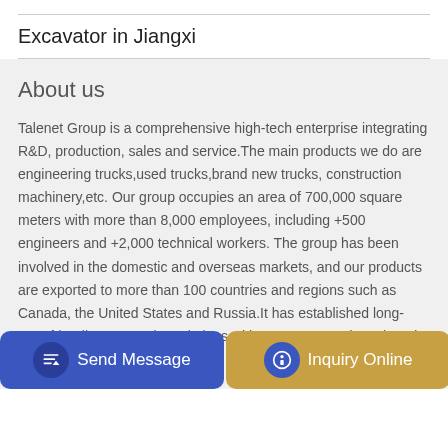Excavator in Jiangxi
About us
Talenet Group is a comprehensive high-tech enterprise integrating R&D, production, sales and service.The main products we do are engineering trucks,used trucks,brand new trucks, construction machinery,etc. Our group occupies an area of 700,000 square meters with more than 8,000 employees, including +500 engineers and +2,000 technical workers. The group has been involved in the domestic and overseas markets, and our products are exported to more than 100 countries and regions such as Canada, the United States and Russia.It has established long-term friendly cooperative relations with customers and continued to expand its global